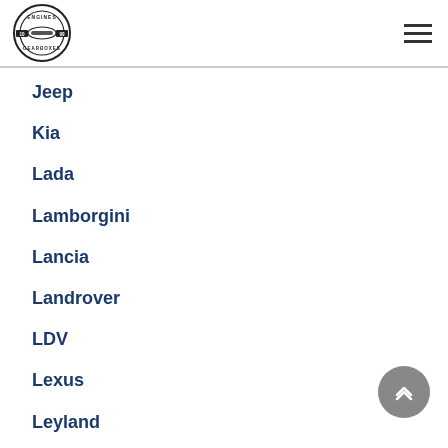Engines & Gearboxes logo and navigation menu
Jeep
Kia
Lada
Lamborgini
Lancia
Landrover
LDV
Lexus
Leyland
Lotus